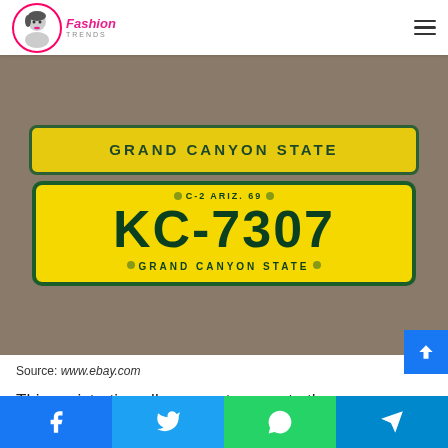Fashion Trends
[Figure (photo): Arizona 1969 license plate KC-7307, yellow with dark green text, reading 'C-2 ARIZ. 69' at top, 'KC-7307' in large letters, and 'GRAND CANYON STATE' at bottom. A partial second plate is visible above with 'GRAND CANYON STATE' text.]
Source: www.ebay.com
This registration allows you to operate the vehicle while